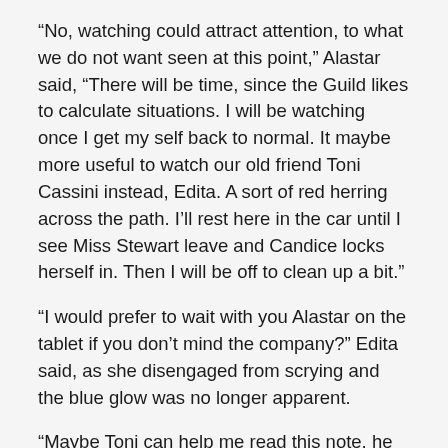“No, watching could attract attention, to what we do not want seen at this point,” Alastar said, “There will be time, since the Guild likes to calculate situations. I will be watching once I get my self back to normal. It maybe more useful to watch our old friend Toni Cassini instead, Edita. A sort of red herring across the path. I’ll rest here in the car until I see Miss Stewart leave and Candice locks herself in. Then I will be off to clean up a bit.”
“I would prefer to wait with you Alastar on the tablet if you don’t mind the company?” Edita said, as she disengaged from scrying and the blue glow was no longer apparent.
“Maybe Toni can help me read this note, he is familiar with how Uncle Osbert and my family wrote,” Candice said, to Mags.